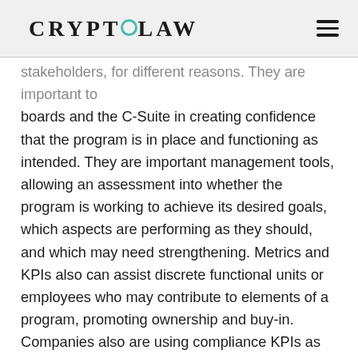CRYPTOLAW
stakeholders, for different reasons. They are important to boards and the C-Suite in creating confidence that the program is in place and functioning as intended.  They are important management tools, allowing an assessment into whether the program is working to achieve its desired goals, which aspects are performing as they should, and which may need strengthening. Metrics and KPIs also can assist discrete functional units or employees who may contribute to elements of a program, promoting ownership and buy-in. Companies also are using compliance KPIs as performance measurement and compensation tools for individual officers and employees. KPIs and metrics are also clearly important to external stakeholders, who seek evidence of a program's robustness and effectiveness.  They also are frequently referenced and used in the overabundance of benchmarking